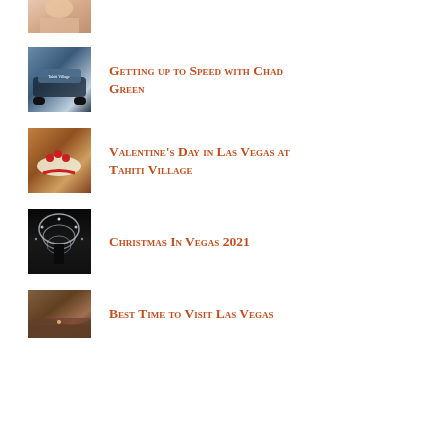[Figure (photo): Partial photo of a person, cropped at top of page]
[Figure (photo): Photo of a car with Tahiti Village text on window]
Getting up to Speed with Chad Green
[Figure (photo): Photo of a dessert plate with strawberries]
Valentine's Day in Las Vegas at Tahiti Village
[Figure (photo): Photo of Christmas lights forming an arch tunnel at night]
Christmas In Vegas 2021
[Figure (photo): Photo of a sandy landscape with a small figure]
Best Time to Visit Las Vegas